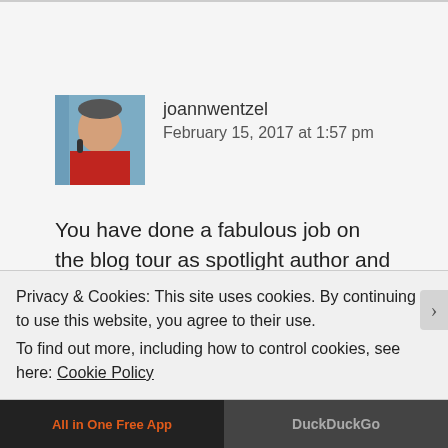[Figure (photo): Avatar photo of joannwentzel — person in red shirt speaking into microphone]
joannwentzel
February 15, 2017 at 1:57 pm
You have done a fabulous job on the blog tour as spotlight author and an even better job on the books. Sheila is nothing if not intriguing. Good job Soooz and Shirley is a welcoming host.
Privacy & Cookies: This site uses cookies. By continuing to use this website, you agree to their use.
To find out more, including how to control cookies, see here: Cookie Policy
Close and accept